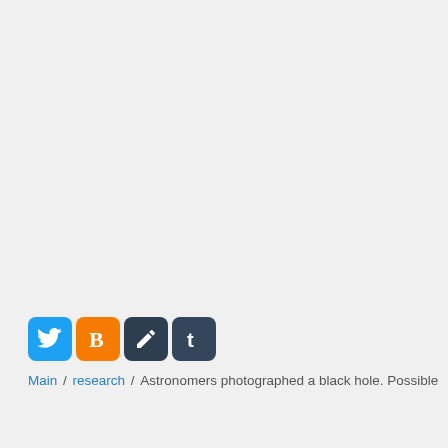[Figure (other): Four social media sharing icon buttons: Twitter (blue bird), Blogger (orange B), Edit/pencil (dark slate), Tumblr (dark blue-gray t)]
Main / research / Astronomers photographed a black hole. Possible